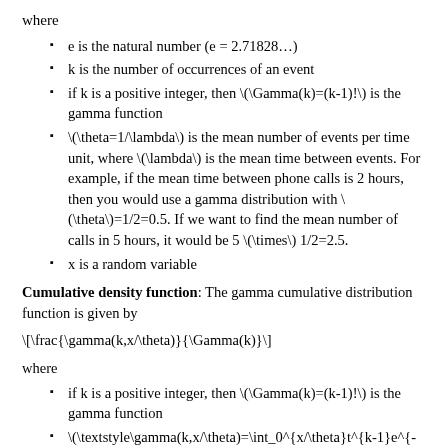where
e is the natural number (e = 2.71828…)
k is the number of occurrences of an event
if k is a positive integer, then \(\Gamma(k)=(k-1)!\) is the gamma function
\(\theta=1/\lambda\) is the mean number of events per time unit, where \(\lambda\) is the mean time between events. For example, if the mean time between phone calls is 2 hours, then you would use a gamma distribution with \(\theta\)=1/2=0.5. If we want to find the mean number of calls in 5 hours, it would be 5 \(\times\) 1/2=2.5.
x is a random variable
Cumulative density function: The gamma cumulative distribution function is given by
where
if k is a positive integer, then \(\Gamma(k)=(k-1)!\) is the gamma function
\(\textstyle\gamma(k,x/\theta)=\int_0^{x/\theta}t^{k-1}e^{-t}dt\)